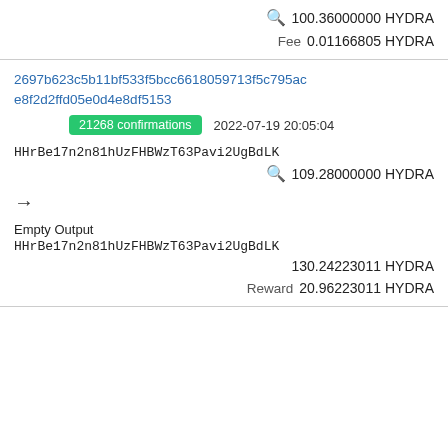🔍 100.36000000 HYDRA
Fee 0.01166805 HYDRA
2697b623c5b11bf533f5bcc66180597 13f5c795ace8f2d2ffd05e0d4e8df5153
21268 confirmations  2022-07-19 20:05:04
HHrBe17n2n81hUzFHBWzT63Pavi2UgBdLK
🔍 109.28000000 HYDRA
→
Empty Output
HHrBe17n2n81hUzFHBWzT63Pavi2UgBdLK
130.24223011 HYDRA
Reward 20.96223011 HYDRA